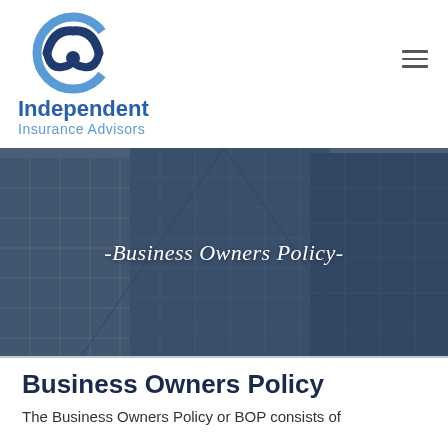[Figure (logo): Independent Insurance Advisors logo — circular emblem with dark blue and light blue arcs forming a face/person symbol, above the text 'Independent' in bold dark blue and 'Insurance Advisors' in lighter blue]
[Figure (photo): Hero banner showing glass-facade office buildings photographed from below against a grey sky, with a dark navy overlay and white text reading '-Business Owners Policy-' in serif font]
Business Owners Policy
The Business Owners Policy or BOP consists of